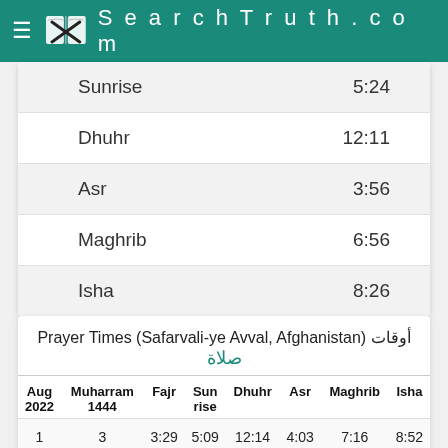SearchTruth.com
| Prayer | Time |
| --- | --- |
| Sunrise | 5:24 |
| Dhuhr | 12:11 |
| Asr | 3:56 |
| Maghrib | 6:56 |
| Isha | 8:26 |
Prayer Times (Safarvali-ye Avval, Afghanistan) أوقات صلاة
| Aug 2022 | Muharram 1444 | Fajr | Sun rise | Dhuhr | Asr | Maghrib | Isha |
| --- | --- | --- | --- | --- | --- | --- | --- |
| 1 | 3 | 3:29 | 5:09 | 12:14 | 4:03 | 7:16 | 8:52 |